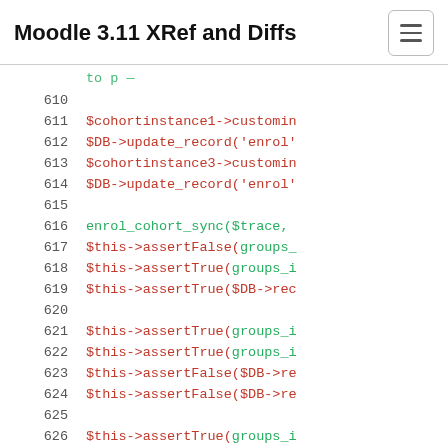Moodle 3.11 XRef and Diffs
610
611    $cohortinstance1->customin
612    $DB->update_record('enrol'
613    $cohortinstance3->customin
614    $DB->update_record('enrol'
615
616    enrol_cohort_sync($trace,
617    $this->assertFalse(groups_
618    $this->assertTrue(groups_i
619    $this->assertTrue($DB->rec
620
621    $this->assertTrue(groups_i
622    $this->assertTrue(groups_i
623    $this->assertFalse($DB->re
624    $this->assertFalse($DB->re
625
626    $this->assertTrue(groups_i
627    $this->assertTrue($DB->rec
628